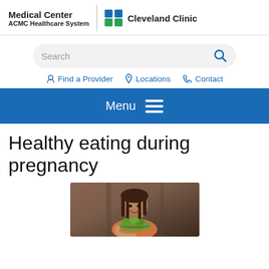Medical Center | ACMC Healthcare System | Cleveland Clinic
[Figure (screenshot): Search bar with placeholder text 'Search' and a blue magnifying glass icon]
[Figure (infographic): Navigation links: Find a Provider, Locations, Contact in blue with icons]
[Figure (infographic): Blue navigation menu bar with 'Menu' text and hamburger icon]
Healthy eating during pregnancy
[Figure (photo): A woman holding and eating a salad, smiling]